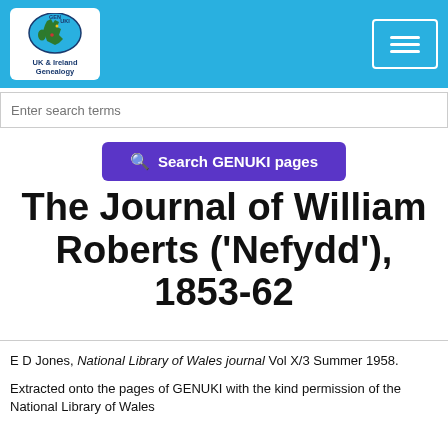GENUKI UK & Ireland Genealogy
[Figure (logo): GENUKI UK & Ireland Genealogy logo with map of UK and Ireland]
Enter search terms
Search GENUKI pages
The Journal of William Roberts ('Nefydd'), 1853-62
E D Jones, National Library of Wales journal Vol X/3 Summer 1958.
Extracted onto the pages of GENUKI with the kind permission of the National Library of Wales